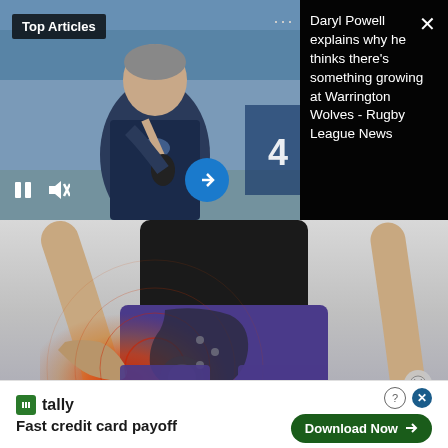[Figure (screenshot): Video thumbnail showing a man in a sports jacket holding a microphone, standing in front of a stadium. Controls show pause button and mute/unmute icon. Blue arrow button for next. Black overlay with article text on right side.]
Top Articles
Daryl Powell explains why he thinks there's something growing at Warrington Wolves - Rugby League News
[Figure (photo): Medical advertisement image showing a person wearing purple athletic shorts with a hip joint x-ray/anatomy overlay showing red pain area with concentric circles indicating pain radiating from the hip joint.]
[Figure (screenshot): Tally app advertisement banner at bottom. Shows Tally logo and text 'Fast credit card payoff' with a 'Download Now' button with arrow.]
tally
Fast credit card payoff
Download Now →